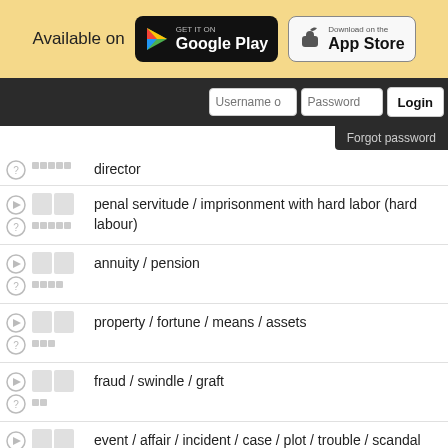[Figure (screenshot): App store availability banner with Google Play and App Store badges]
[Figure (screenshot): Login bar with username, password fields and login button]
director (partial)
penal servitude / imprisonment with hard labor (hard labour)
annuity / pension
property / fortune / means / assets
fraud / swindle / graft
event / affair / incident / case / plot / trouble / scandal
Tokyo (current capital of Japan)